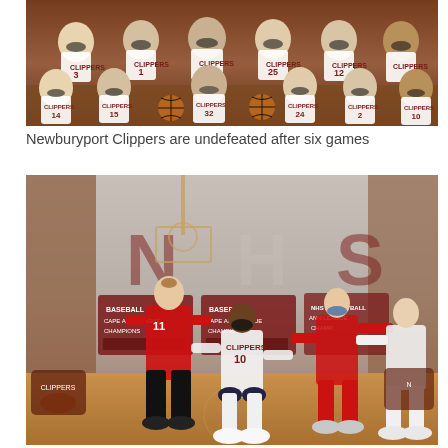[Figure (photo): Team photo of the Newburyport Clippers girls basketball team. Players wearing white Clippers jerseys with numbers 14, 15, 32, 24, 2, 10 visible in front row, and additional players in back row with numbers 1, 44, 25, 12. All players and coaches wearing masks. Players seated and standing on bleachers/bench in a gym.]
Newburyport Clippers are undefeated after six games
[Figure (photo): Action photo of a Newburyport Clippers girls basketball game. A player wearing Clippers white jersey number 10 is in a defensive stance on the court. An opposing player in a red jersey number 11 faces away from the camera. Other players visible in the background. NHS championship banners visible on the gym wall with text including 'BASEBALL CAPE ANN LEAGUE CHAMPIONS'. Brick walls visible.]